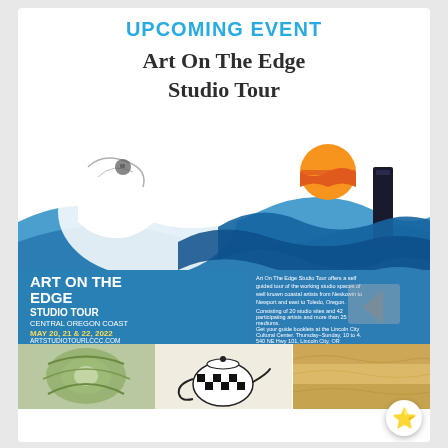UPCOMING EVENT
Art On The Edge
Studio Tour
[Figure (illustration): Art On The Edge Studio Tour promotional poster. Features a stylized wave design in blue with a white eagle/bird silhouette on the left, an orange and red sun setting behind a dark vertical rectangle on the right. Lower portion is a blue background with bold white text reading 'ART ON THE EDGE EDGE STUDIO TOUR CENTRAL OREGON COAST MAY 20, 21 & 22, 2022 ARTSTUDIOTOURLCCC.COM' on the left, and smaller descriptive text on the right about the self-guided tour.]
[Figure (photo): Three thumbnail photos at the bottom: fiber/textile art, a black and white patterned teapot, and a golden textured surface.]